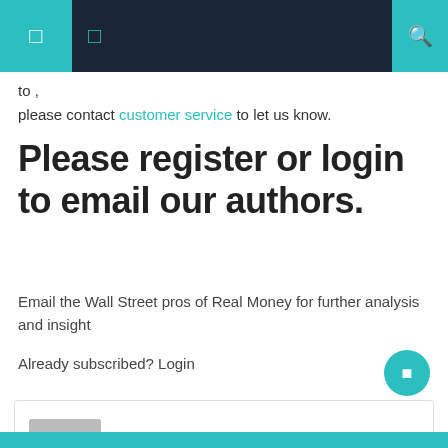Navigation header bar with icons
to ,
please contact customer service to let us know.
Please register or login to email our authors.
Email the Wall Street pros of Real Money for further analysis and insight
Already subscribed? Login
Candice M. Porter
https://watthai.net